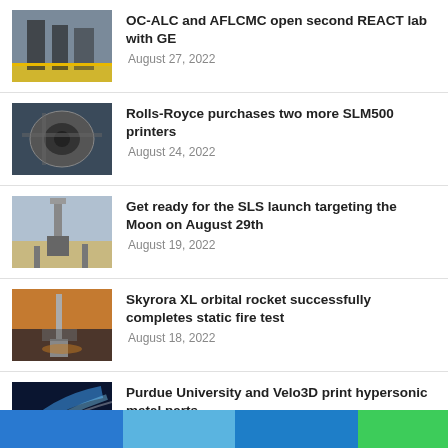OC-ALC and AFLCMC open second REACT lab with GE
Rolls-Royce purchases two more SLM500 printers
Get ready for the SLS launch targeting the Moon on August 29th
Skyrora XL orbital rocket successfully completes static fire test
Purdue University and Velo3D print hypersonic metal parts